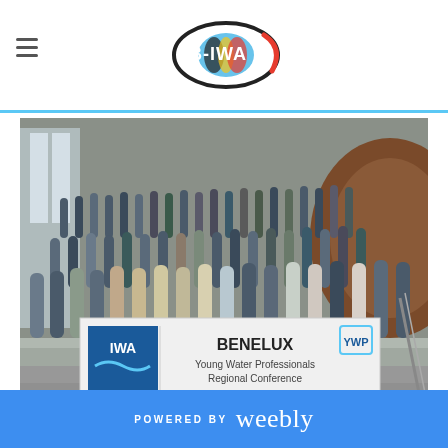B-IWA logo and navigation header
[Figure (photo): Group photo of young water professionals on stairs holding a banner that reads 'IWA BENELUX Young Water Professionals Regional Conference' with YWP logo, taken indoors at a modern building.]
POWERED BY weebly